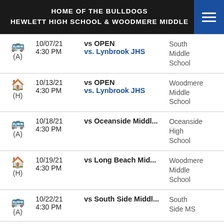HOME OF THE BULLDOGS
HEWLETT HIGH SCHOOL & WOODMERE MIDDLE
| Icon/H-A | Date/Time | Event | Location |
| --- | --- | --- | --- |
| (A) Bus | 10/07/21
4:30 PM | vs OPEN
vs. Lynbrook JHS | South Middle School |
| (H) Home | 10/13/21
4:30 PM | vs OPEN
vs. Lynbrook JHS | Woodmere Middle School |
| (A) Bus | 10/18/21
4:30 PM | vs Oceanside Middl... | Oceanside High School |
| (H) Home | 10/19/21
4:30 PM | vs Long Beach Mid... | Woodmere Middle School |
| (A) Bus | 10/22/21
4:30 PM | vs South Side Middl... | South Side MS |